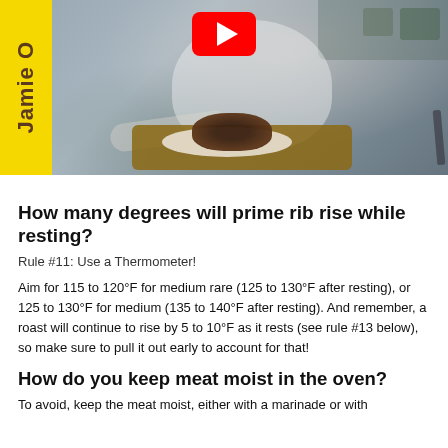[Figure (photo): YouTube video thumbnail showing Jamie Oliver in a kitchen with a roasted prime rib on a cutting board. Jamie Oliver yellow branded banner on the left, red YouTube play button at the top center.]
How many degrees will prime rib rise while resting?
Rule #11: Use a Thermometer!
Aim for 115 to 120°F for medium rare (125 to 130°F after resting), or 125 to 130°F for medium (135 to 140°F after resting). And remember, a roast will continue to rise by 5 to 10°F as it rests (see rule #13 below), so make sure to pull it out early to account for that!
How do you keep meat moist in the oven?
To avoid, keep the meat moist, either with a marinade or with